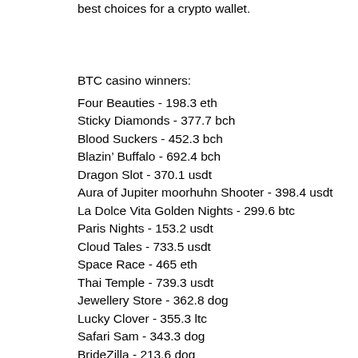best choices for a crypto wallet.
BTC casino winners:
Four Beauties - 198.3 eth
Sticky Diamonds - 377.7 bch
Blood Suckers - 452.3 bch
Blazin' Buffalo - 692.4 bch
Dragon Slot - 370.1 usdt
Aura of Jupiter moorhuhn Shooter - 398.4 usdt
La Dolce Vita Golden Nights - 299.6 btc
Paris Nights - 153.2 usdt
Cloud Tales - 733.5 usdt
Space Race - 465 eth
Thai Temple - 739.3 usdt
Jewellery Store - 362.8 dog
Lucky Clover - 355.3 ltc
Safari Sam - 343.3 dog
BrideZilla - 213.6 dog